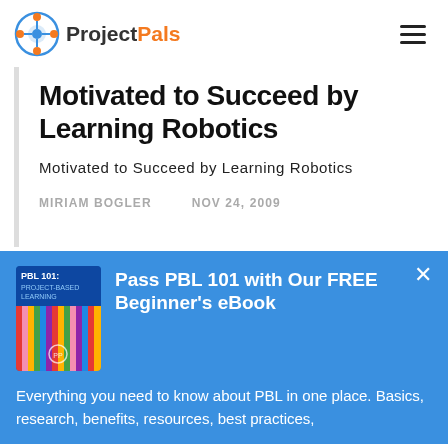ProjectPals
Motivated to Succeed by Learning Robotics
Motivated to Succeed by Learning Robotics
MIRIAM BOGLER    NOV 24, 2009
[Figure (other): PBL 101 book cover with colorful pencils]
Pass PBL 101 with Our FREE Beginner's eBook
Everything you need to know about PBL in one place. Basics, research, benefits, resources, best practices,